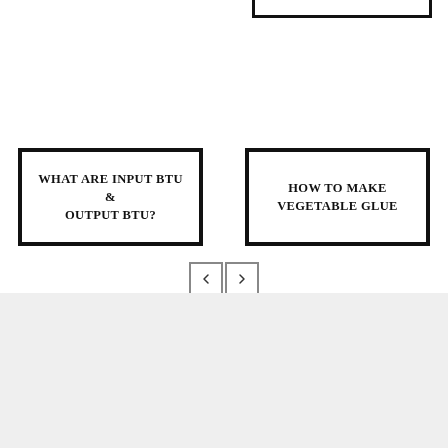[Figure (screenshot): Partial cropped box visible at the top right of the page, showing only the bottom border portion of a navigation card.]
WHAT ARE INPUT BTU & OUTPUT BTU?
HOW TO MAKE VEGETABLE GLUE
[Figure (other): Pagination navigation with left arrow button and right arrow button (two small square buttons with chevron arrows).]